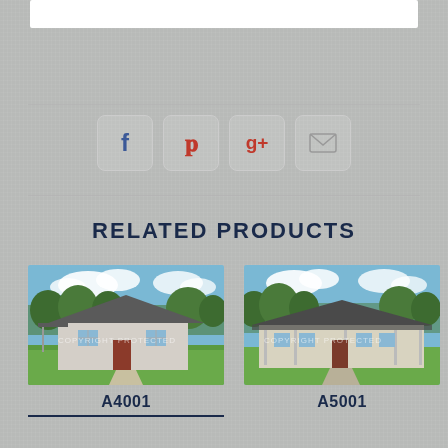[Figure (screenshot): White rectangular box at top of page]
[Figure (infographic): Social sharing buttons row: Facebook (f), Pinterest (p), Google+ (g+), Email (envelope icon)]
RELATED PRODUCTS
[Figure (photo): House plan A4001 - single story ranch style house with covered porch, green lawn, blue sky]
A4001
[Figure (photo): House plan A5001 - single story ranch style house with long covered porch, green lawn, blue sky]
A5001